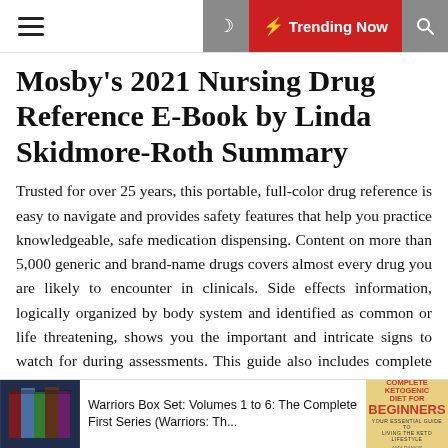≡  ☾  ⚡ Trending Now  🔍
Mosby's 2021 Nursing Drug Reference E-Book by Linda Skidmore-Roth Summary
Trusted for over 25 years, this portable, full-color drug reference is easy to navigate and provides safety features that help you practice knowledgeable, safe medication dispensing. Content on more than 5,000 generic and brand-name drugs covers almost every drug you are likely to encounter in clinicals. Side effects information, logically organized by body system and identified as common or life threatening, shows you the important and intricate signs to watch for during assessments. This guide also includes complete pharmacokinetic tables that explain the mechanism and absorption of the drug as well as the action, duration, and excretion of the drug. Whether you're in the classroom or in clinicals, Mosby's 2021 Nursing Drug Reference, 34th Edition is the all-in-one drug reference you need. Content on more than 5,000
[Figure (illustration): Advertisement banner at bottom: book cover image on left, 'Warriors Box Set: Volumes 1 to 6: The Complete First Series (Warriors: Th...' text in middle, Complete Ketogenic Diet for Beginners book cover image on right]